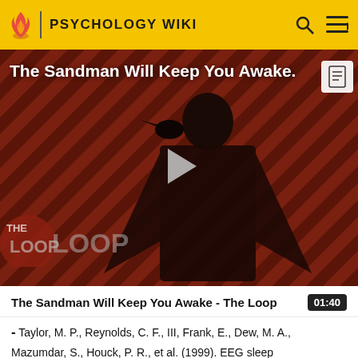PSYCHOLOGY WIKI
[Figure (screenshot): Video thumbnail for 'The Sandman Will Keep You Awake - The Loop' showing a dark-robed figure against a red diagonal-striped background with THE LOOP logo and a play button overlay]
The Sandman Will Keep You Awake - The Loop  01:40
- Taylor, M. P., Reynolds, C. F., III, Frank, E., Dew, M. A., Mazumdar, S., Houck, P. R., et al. (1999). EEG sleep measures in later-life bereavement depression: A randomized, double-blind, placebo-controlled